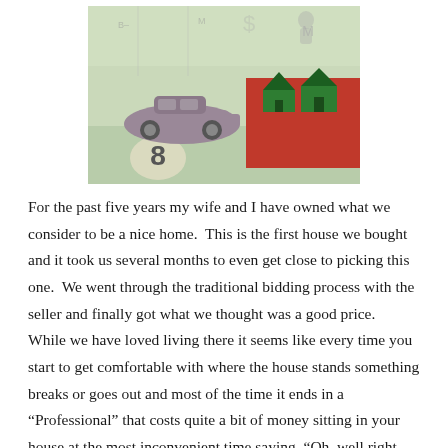[Figure (photo): Monopoly game pieces on a board: a gray/mauve toy car token and green plastic houses sitting on a red property square, with the green Monopoly board visible underneath.]
For the past five years my wife and I have owned what we consider to be a nice home.  This is the first house we bought and it took us several months to even get close to picking this one.  We went through the traditional bidding process with the seller and finally got what we thought was a good price.   While we have loved living there it seems like every time you start to get comfortable with where the house stands something breaks or goes out and most of the time it ends in a “Professional” that costs quite a bit of money sitting in your house at the most inconvenient time saying, “Oh, well right there’s the problem”.